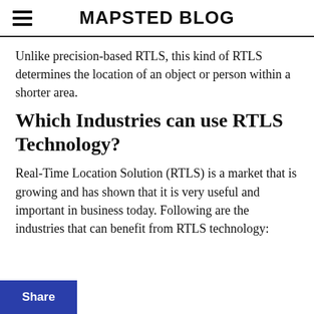MAPSTED BLOG
Unlike precision-based RTLS, this kind of RTLS determines the location of an object or person within a shorter area.
Which Industries can use RTLS Technology?
Real-Time Location Solution (RTLS) is a market that is growing and has shown that it is very useful and important in business today. Following are the industries that can benefit from RTLS technology: